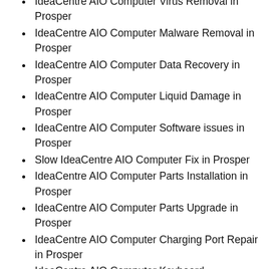IdeaCentre AIO Computer Virus Removal in Prosper
IdeaCentre AIO Computer Malware Removal in Prosper
IdeaCentre AIO Computer Data Recovery in Prosper
IdeaCentre AIO Computer Liquid Damage in Prosper
IdeaCentre AIO Computer Software issues in Prosper
Slow IdeaCentre AIO Computer Fix in Prosper
IdeaCentre AIO Computer Parts Installation in Prosper
IdeaCentre AIO Computer Parts Upgrade in Prosper
IdeaCentre AIO Computer Charging Port Repair in Prosper
IdeaCentre AIO Computer Keyboard Replacement in Prosper
IdeaCentre AIO Computer Trackpad Replacement in Prosper
IdeaCentre AIO Computer Hinge Replacement in Prosper
IdeaCentre AIO Computer Stuck in Windows Logo Fix in Prosper
IdeaCentre AIO Computer Boot Issue fix in Prosper
IdeaCentre AIO Computer Password Removal in Prosper